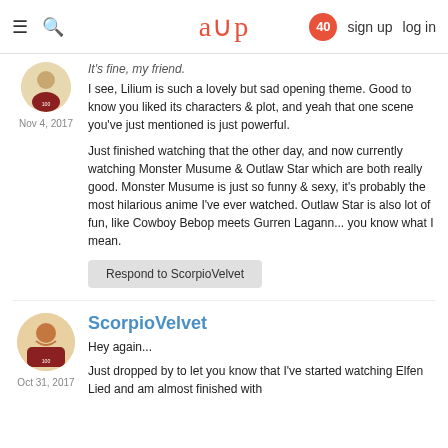aup | 40 | sign up | log in
It's fine, my friend.
I see, Lilium is such a lovely but sad opening theme. Good to know you liked its characters & plot, and yeah that one scene you've just mentioned is just powerful.

Just finished watching that the other day, and now currently watching Monster Musume & Outlaw Star which are both really good. Monster Musume is just so funny & sexy, it's probably the most hilarious anime I've ever watched. Outlaw Star is also lot of fun, like Cowboy Bebop meets Gurren Lagann... you know what I mean.
Nov 4, 2017
Respond to ScorpioVelvet
ScorpioVelvet
Hey again...
Just dropped by to let you know that I've started watching Elfen Lied and am almost finished with
Oct 31, 2017